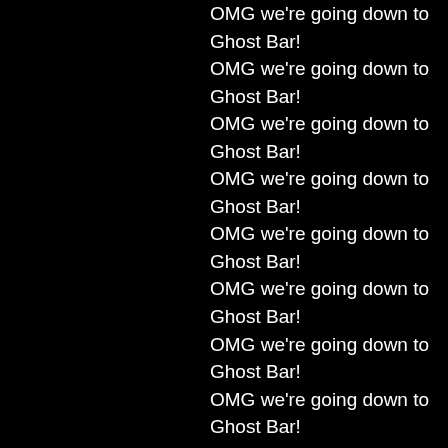OMG we're going down to Ghost Bar! OMG we're going down to Ghost Bar! OMG we're going down to Ghost Bar! OMG we're going down to Ghost Bar! OMG we're going down to Ghost Bar! OMG we're going down to Ghost Bar! OMG we're going down to Ghost Bar! OMG we're going down to Ghost Bar! OMG we're going down to Ghost Bar! OMG we're going down to Ghost Bar! OMG we're going down to Ghost Bar! OMG we're going down to Ghost Bar! OMG we're going down to Ghost Bar! OMG we're going down to Ghost Bar! OMG we're going down to Ghost Bar! OMG we're going down to Ghost Bar!